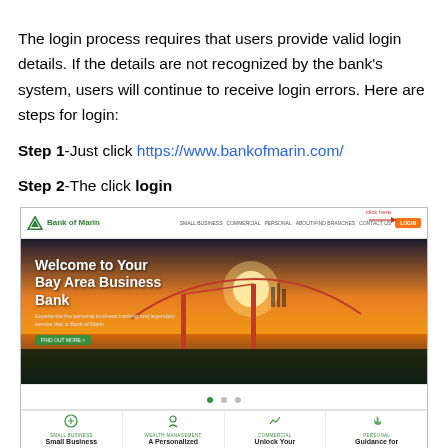The login process requires that users provide valid login details. If the details are not recognized by the bank's system, users will continue to receive login errors. Here are steps for login:
Step 1-Just click https://www.bankofmarin.com/
Step 2-The click login
[Figure (screenshot): Screenshot of the Bank of Marin website homepage showing the header with logo and navigation including a Login button with a 'click here' annotation and arrow, a hero image of the Golden Gate Bridge with text 'Welcome to Your Bay Area Business Bank', navigation dots, and footer section with Small Business, A Personalized, Unlock Your, Guidance for columns.]